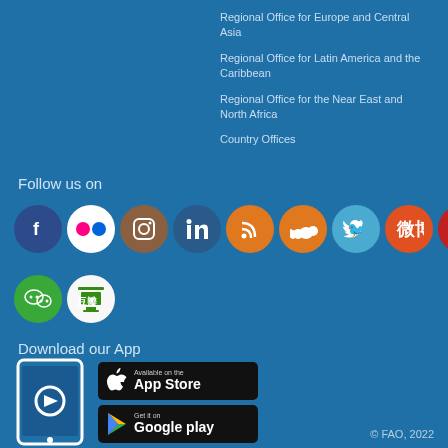Regional Office for Europe and Central Asia
Regional Office for Latin America and the Caribbean
Regional Office for the Near East and North Africa
Country Offices
Follow us on
[Figure (infographic): Social media icons row 1: Facebook, Flickr, Instagram, LinkedIn, RSS, SoundCloud, Twitter, Weibo, YouTube, TikTok]
[Figure (infographic): Social media icons row 2: WeChat, Douban]
Download our App
[Figure (infographic): Tablet icon with download arrow, App Store button, Google Play button]
© FAO, 2022